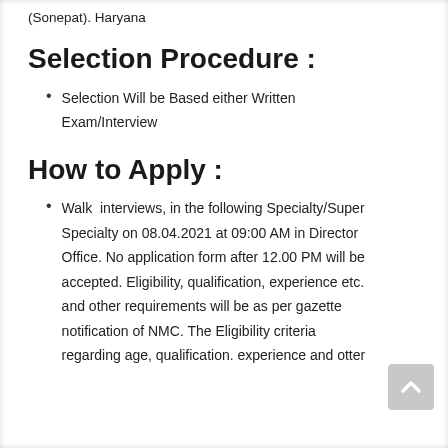(Sonepat). Haryana
Selection Procedure :
Selection Will be Based either Written Exam/Interview
How to Apply :
Walk interviews, in the following Specialty/Super Specialty on 08.04.2021 at 09:00 AM in Director Office. No application form after 12.00 PM will be accepted. Eligibility, qualification, experience etc. and other requirements will be as per gazette notification of NMC. The Eligibility criteria regarding age, qualification. experience and otter